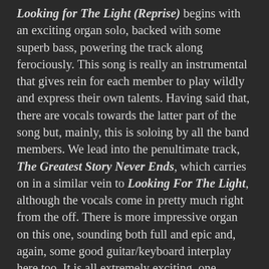Looking for The Light (Reprise) begins with an exciting organ solo, backed with some superb bass, powering the track along ferociously. This song is really an instrumental that gives rein for each member to play wildly and express their own talents. Having said that, there are vocals towards the latter part of the song but, mainly, this is soloing by all the band members. We lead into the penultimate track, The Greatest Story Never Ends, which carries on in a similar vein to Looking For The Light, although the vocals come in pretty much right from the off. There is more impressive organ on this one, sounding both full and epic and, again, some good guitar/keyboard interplay here too. It is all extremely exciting, one wonders how this album will translate to the live arena, it certainly has great promise for a lively and engrossing show.
The album closes with the full version of Love